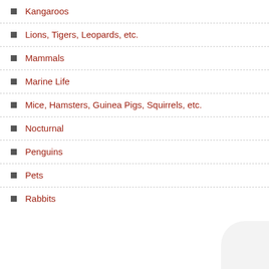Kangaroos
Lions, Tigers, Leopards, etc.
Mammals
Marine Life
Mice, Hamsters, Guinea Pigs, Squirrels, etc.
Nocturnal
Penguins
Pets
Rabbits